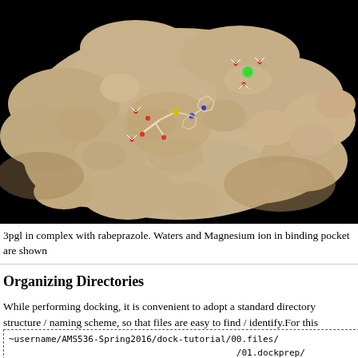[Figure (photo): 3D molecular surface rendering of protein 3pgl in complex with rabeprazole. The protein surface is shown in tan/beige color against a black background. A ligand (rabeprazole) is visible in the binding pocket with colored atoms (red, blue, yellow, white sticks). A green sphere (Magnesium ion) and water molecules (red/white) are also visible in the binding pocket.]
3pgl in complex with rabeprazole. Waters and Magnesium ion in binding pocket are shown
Organizing Directories
While performing docking, it is convenient to adopt a standard directory structure / naming scheme, so that files are easy to find / identify.For this tutorial, we will use something similar to the following:
~username/AMS536-Spring2016/dock-tutorial/00.files/
                                          /01.dockprep/